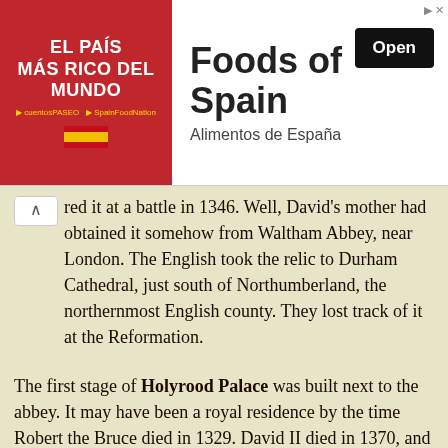[Figure (infographic): Advertisement banner for 'Foods of Spain' / Alimentos de España. Left side shows red background with white bold text 'EL PAÍS MÁS RICO DEL MUNDO' and Spanish flag logo. Right side shows large bold text 'Foods of Spain', subtitle 'Alimentos de España', and a black 'Open' button.]
red it at a battle in 1346. Well, David's mother had obtained it somehow from Waltham Abbey, near London. The English took the relic to Durham Cathedral, just south of Northumberland, the northernmost English county. They lost track of it at the Reformation.
The first stage of Holyrood Palace was built next to the abbey. It may have been a royal residence by the time Robert the Bruce died in 1329. David II died in 1370, and he was the first of several Kings of Scots to be buried there. James IV build a new palace next to the abbey in 1501–1505. It became the main residence of the Kings and Queens of Scotland.
Now the palace is the official residence in Scotland for the